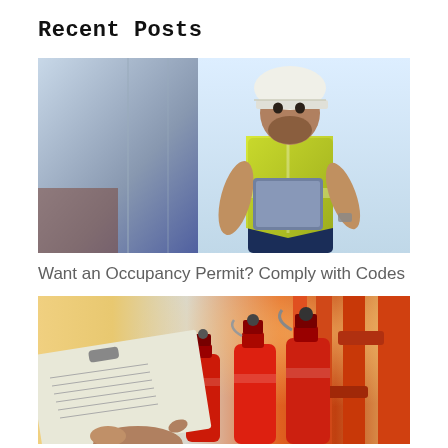Recent Posts
[Figure (photo): Construction worker wearing a yellow safety vest and white hard hat, holding a tablet device outdoors near a building]
Want an Occupancy Permit? Comply with Codes
[Figure (photo): Person reviewing documents on a clipboard near red fire extinguishers and orange industrial pipes in a fire safety equipment room]